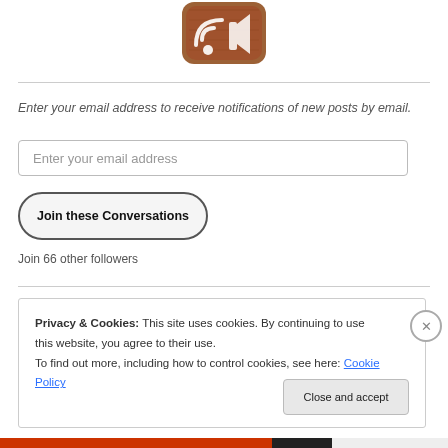[Figure (logo): RSS/podcast style wooden icon logo with speaker/wifi symbol]
Enter your email address to receive notifications of new posts by email.
Enter your email address
Join these Conversations
Join 66 other followers
Privacy & Cookies: This site uses cookies. By continuing to use this website, you agree to their use.
To find out more, including how to control cookies, see here: Cookie Policy
Close and accept